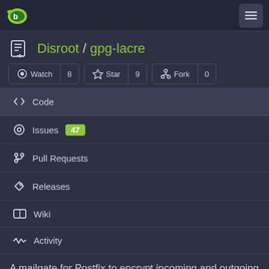Gitea navigation bar with logo and hamburger menu
Disroot / gpg-lacre
Watch 8  Star 9  Fork 0
Code
Issues 47
Pull Requests
Releases
Wiki
Activity
A mailgate for Postfix to encrypt incoming and outgoing email with S/MIME and/or OpenPGP and